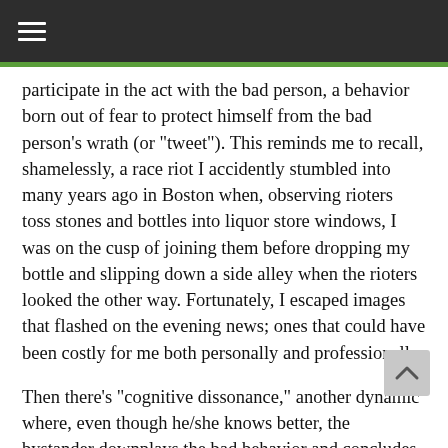≡
participate in the act with the bad person, a behavior born out of fear to protect himself from the bad person's wrath (or "tweet"). This reminds me to recall, shamelessly, a race riot I accidently stumbled into many years ago in Boston when, observing rioters toss stones and bottles into liquor store windows, I was on the cusp of joining them before dropping my bottle and slipping down a side alley when the rioters looked the other way. Fortunately, I escaped images that flashed on the evening news; ones that could have been costly for me both personally and professionally.
Then there's "cognitive dissonance," another dynamic where, even though he/she knows better, the bystander downplays the bad behavior and concludes that things aren't so bad after all. Here the bystander rationalizes any internal conflicts to feel safe. The likelihood that he/she will act is virtually nil.
Now the message to potential participants – active and bystanders – in social movements, understand that once the toothpaste is out of the tube regarding your behavior, including